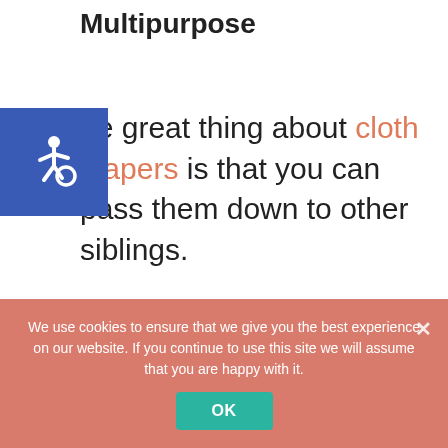Multipurpose
[Figure (illustration): Blue square accessibility icon with wheelchair symbol in white]
The great thing about cloth diapers is that you can pass them down to other siblings.
You can even use them for other things such as:
We use cookies to ensure that we give you the best experience on our website. If you continue to use this site we will assume that you are happy with it.